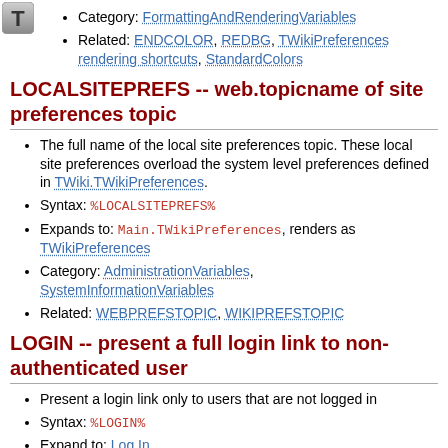[Figure (logo): Gray 'T' icon in top-left corner]
Category: FormattingAndRenderingVariables
Related: ENDCOLOR, REDBG, TWikiPreferences rendering shortcuts, StandardColors
LOCALSITEPREFS -- web.topicname of site preferences topic
The full name of the local site preferences topic. These local site preferences overload the system level preferences defined in TWiki.TWikiPreferences.
Syntax: %LOCALSITEPREFS%
Expands to: Main.TWikiPreferences, renders as TWikiPreferences
Category: AdministrationVariables, SystemInformationVariables
Related: WEBPREFSTOPIC, WIKIPREFSTOPIC
LOGIN -- present a full login link to non-authenticated user
Present a login link only to users that are not logged in
Syntax: %LOGIN%
Expand to: Log In